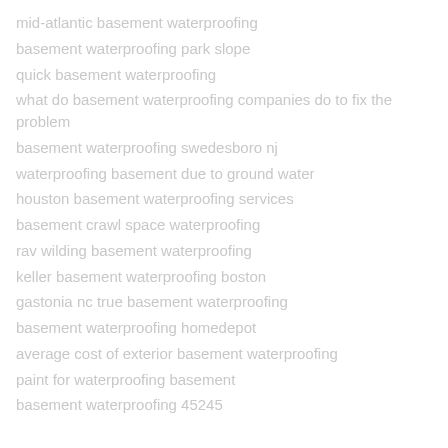mid-atlantic basement waterproofing
basement waterproofing park slope
quick basement waterproofing
what do basement waterproofing companies do to fix the problem
basement waterproofing swedesboro nj
waterproofing basement due to ground water
houston basement waterproofing services
basement crawl space waterproofing
rav wilding basement waterproofing
keller basement waterproofing boston
gastonia nc true basement waterproofing
basement waterproofing homedepot
average cost of exterior basement waterproofing
paint for waterproofing basement
basement waterproofing 45245